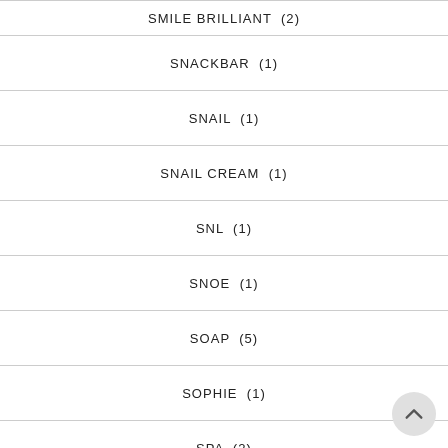SMILE BRILLIANT  (2)
SNACKBAR  (1)
SNAIL  (1)
SNAIL CREAM  (1)
SNL  (1)
SNOE  (1)
SOAP  (5)
SOPHIE  (1)
SPA  (2)
SPONSORS  (4)